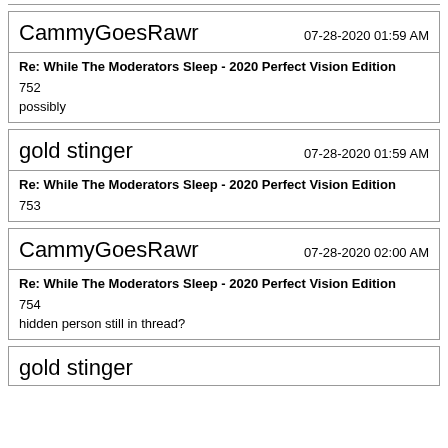CammyGoesRawr — 07-28-2020 01:59 AM — Re: While The Moderators Sleep - 2020 Perfect Vision Edition — 752 — possibly
gold stinger — 07-28-2020 01:59 AM — Re: While The Moderators Sleep - 2020 Perfect Vision Edition — 753
CammyGoesRawr — 07-28-2020 02:00 AM — Re: While The Moderators Sleep - 2020 Perfect Vision Edition — 754 — hidden person still in thread?
gold stinger (partial)